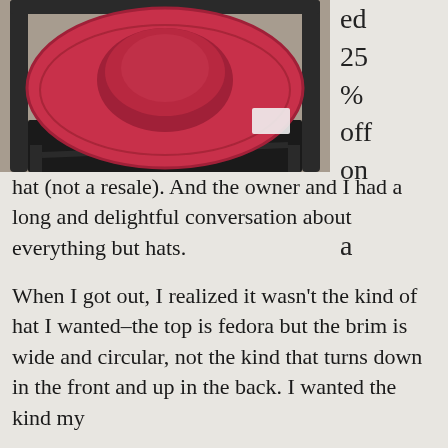[Figure (photo): A large red wide-brimmed hat viewed from above, resting on a dark metal folding chair on a beige/tan carpet floor. The hat is a bright red/pink color with a fedora-style crown.]
ed 25 % off on a
hat (not a resale). And the owner and I had a long and delightful conversation about everything but hats.
When I got out, I realized it wasn't the kind of hat I wanted–the top is fedora but the brim is wide and circular, not the kind that turns down in the front and up in the back. I wanted the kind my